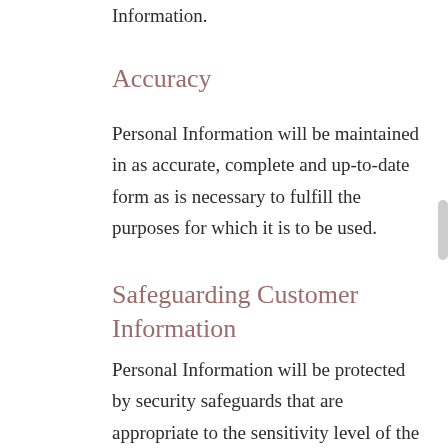Information.
Accuracy
Personal Information will be maintained in as accurate, complete and up-to-date form as is necessary to fulfill the purposes for which it is to be used.
Safeguarding Customer Information
Personal Information will be protected by security safeguards that are appropriate to the sensitivity level of the information. We take all reasonable precautions to protect your Personal Information from any loss or